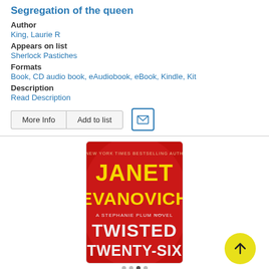Segregation of the queen
Author
King, Laurie R
Appears on list
Sherlock Pastiches
Formats
Book, CD audio book, eAudiobook, eBook, Kindle, Kit
Description
Read Description
[Figure (other): Book cover for Twisted Twenty-Six by Janet Evanovich, A Stephanie Plum Novel, red background with large yellow and white text]
[Figure (other): Yellow circular button with upward arrow icon]